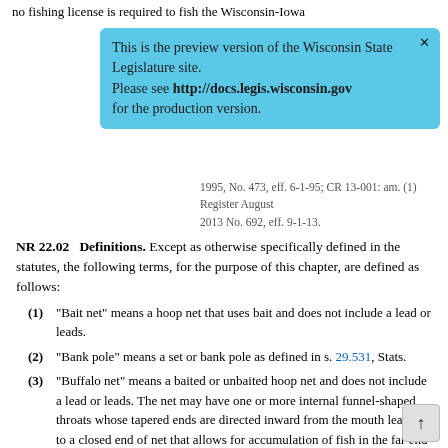no fishing license is required to fish the Wisconsin-Iowa
This is the preview version of the Wisconsin State Legislature site. Please see http://docs.legis.wisconsin.gov for the production version.
1995, No. 473, eff. 6-1-95; CR 13-001: am. (1) Register August 2013 No. 692, eff. 9-1-13.
NR 22.02 Definitions.
Except as otherwise specifically defined in the statutes, the following terms, for the purpose of this chapter, are defined as follows:
(1) "Bait net" means a hoop net that uses bait and does not include a lead or leads.
(2) "Bank pole" means a set or bank pole as defined in s. 29.531, Stats.
(3) "Buffalo net" means a baited or unbaited hoop net and does not include a lead or leads. The net may have one or more internal funnel-shaped throats whose tapered ends are directed inward from the mouth leading to a closed end of net that allows for accumulation of fish in the far end of the net. The closed end is tied off creating a holding place for fish.
(4) "Closed season" means that period of the year not included in the open season for each species of fish as provided in this chapter.